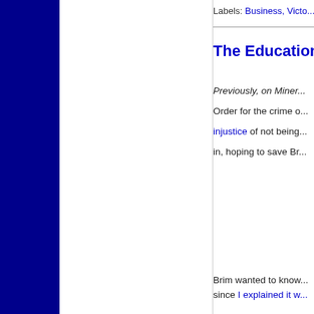Labels: Business, Victo...
The Education...
Previously, on Miner... Order for the crime o... injustice of not being... in, hoping to save Br...
Brim wanted to know... since I explained it w...